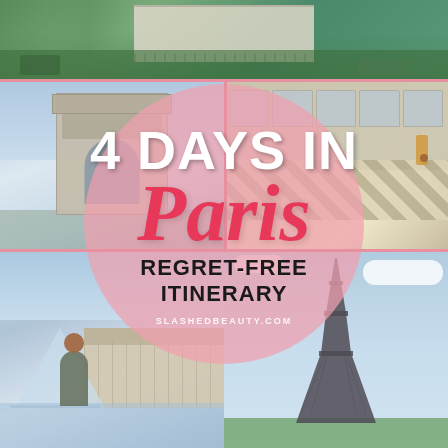[Figure (photo): Travel poster collage for Paris with 4 days itinerary. Photos include aerial view of Paris buildings (top), Arc de Triomphe (middle left), Palace of Versailles (middle right), Louvre pyramid with person (bottom left), Eiffel Tower (bottom right). Large pink semi-transparent circle overlay in center with text '4 DAYS IN Paris REGRET-FREE ITINERARY' and watermark 'SLASHEDBEAUTY.COM'.]